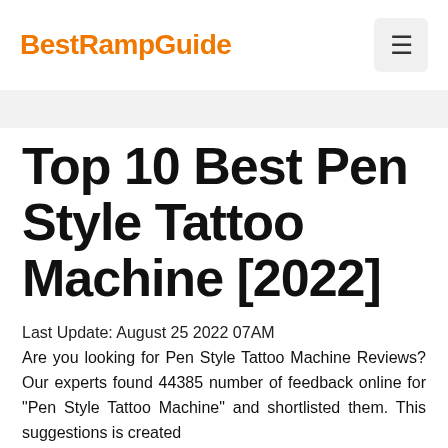BestRampGuide
Top 10 Best Pen Style Tattoo Machine [2022]
Last Update: August 25 2022 07AM
Are you looking for Pen Style Tattoo Machine Reviews? Our experts found 44385 number of feedback online for "Pen Style Tattoo Machine" and shortlisted them. This suggestions is created